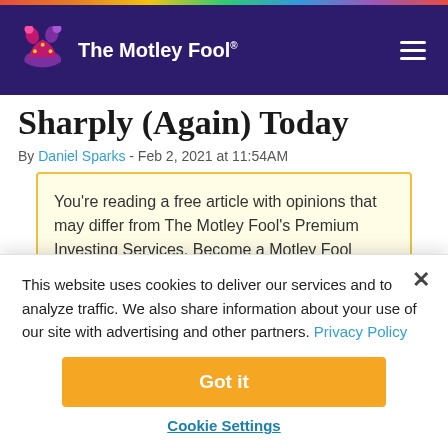The Motley Fool
Sharply (Again) Today
By Daniel Sparks - Feb 2, 2021 at 11:54AM
You're reading a free article with opinions that may differ from The Motley Fool's Premium Investing Services. Become a Motley Fool member today to get instant
This website uses cookies to deliver our services and to analyze traffic. We also share information about your use of our site with advertising and other partners. Privacy Policy
Got it
Cookie Settings